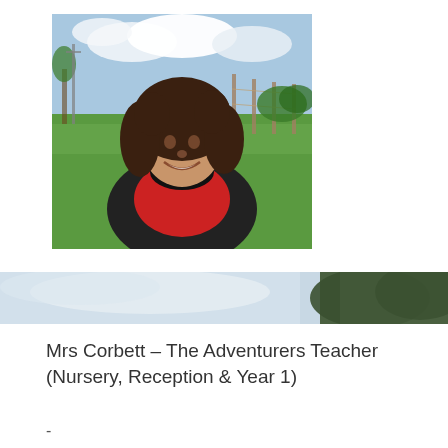[Figure (photo): Photo of Mrs Corbett, a woman with curly dark hair, smiling, wearing a red top and black jacket, standing outdoors in a rural/farm setting with green fields and blue sky in the background.]
[Figure (photo): Partial landscape banner image showing a pale sky and a blurred green/dark object (tree or foliage) on the right side.]
Mrs Corbett – The Adventurers Teacher (Nursery, Reception & Year 1)
-